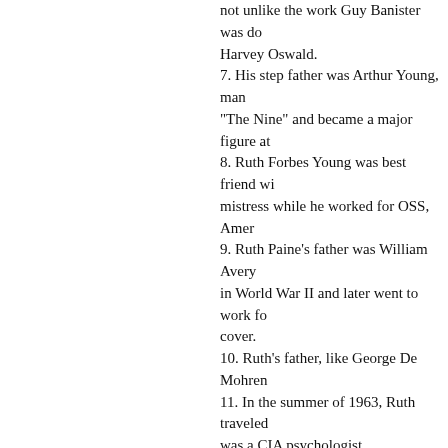not unlike the work Guy Banister was do... Harvey Oswald.
7. His step father was Arthur Young, man... "The Nine" and became a major figure at...
8. Ruth Forbes Young was best friend wi... mistress while he worked for OSS, Amer...
9. Ruth Paine's father was William Avery... in World War II and later went to work for... cover.
10. Ruth's father, like George De Mohren...
11. In the summer of 1963, Ruth traveled... was a CIA psychologist.
12. Sylvia's husband John Hoke also wo...
13. In the 1980s, Ruth Paine was appare... regard to the attempts at overthrowing th... The Paines–Ruth in particular–played a c... Lee being framed for the JFK assassinat...
Among the operations performed by the...
1. Ruth separated Lee and Marina, bring... Orleans and then facilitating Lee's stay a...
2. Ruth got Lee his job at the Texas Scho... received a better job offer. It was Lee's e... him for the assassination.
3. Ruth may well have been the person...